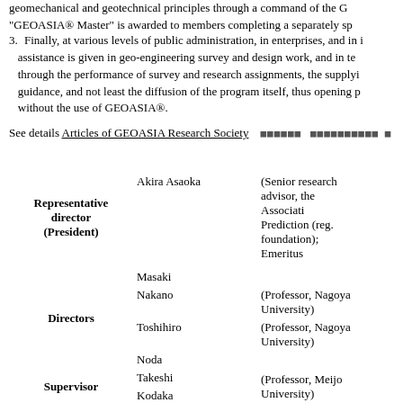geomechanical and geotechnical principles through a command of the G... "GEOASIA® Master" is awarded to members completing a separately sp...
3. Finally, at various levels of public administration, in enterprises, and in i... assistance is given in geo-engineering survey and design work, and in te... through the performance of survey and research assignments, the supplyi... guidance, and not least the diffusion of the program itself, thus opening p... without the use of GEOASIA®.
See details Articles of GEOASIA Research Society [Japanese text]
| Role | Name | Description |
| --- | --- | --- |
| Representative director (President) | Akira Asaoka | (Senior research advisor, the Associati... Prediction (reg. foundation); Emeritus... |
| Directors | Masaki Nakano
Toshihiro Noda | (Professor, Nagoya University)
(Professor, Nagoya University) |
| Supervisor | Takeshi Kodaka | (Professor, Meijo University) |
| Delegate (the second phase) | Eiji Yamada
Shotaro Yamada
Kentaro Nakai
Musumi Tashiro
Takayuki Sakai
Takshi... |  |